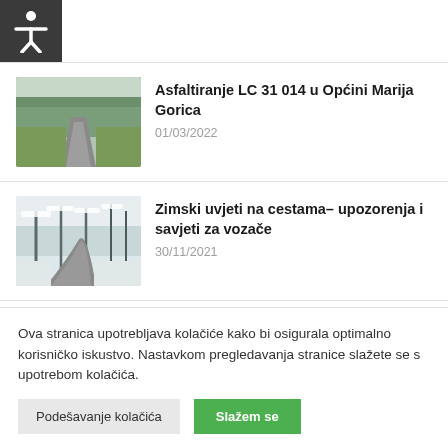[Figure (screenshot): Accessibility icon (white human figure) on dark background in top-left corner]
[Figure (photo): Photo of a paved road through a forest in autumn/winter conditions]
Asfaltiranje LC 31 014 u Općini Marija Gorica
01/03/2022
[Figure (photo): Photo of a winding road through snow-covered trees in winter]
Zimski uvjeti na cestama– upozorenja i savjeti za vozače
30/11/2021
Ova stranica upotrebljava kolačiće kako bi osigurala optimalno korisničko iskustvo. Nastavkom pregledavanja stranice slažete se s upotrebom kolačića.
Podešavanje kolačića
Slažem se